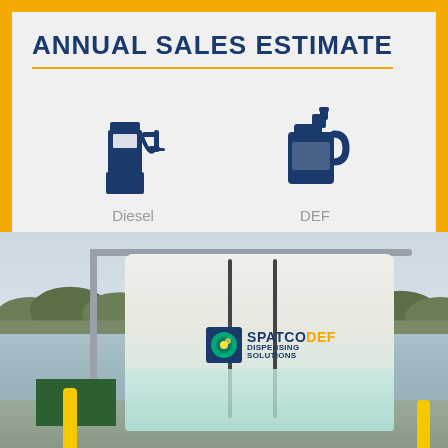ANNUAL SALES ESTIMATE
[Figure (infographic): Two icons side by side: a fuel pump icon labeled 'Diesel' and a fuel canister icon labeled 'DEF', on a light gray background]
[Figure (photo): Outdoor photo of a large white cylindrical DEF storage tank with SPATCO DEF Dispensing Solutions logo on it, set against trees and overcast sky. Yellow bollard visible at left.]